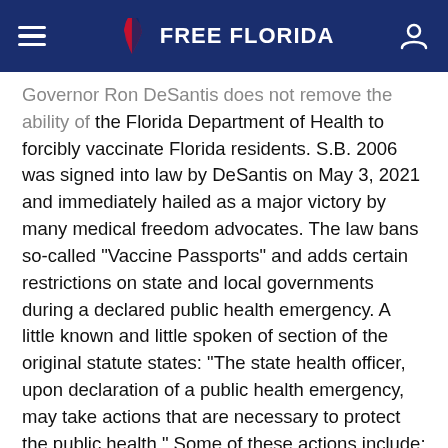Free Florida
Governor Ron DeSantis does not remove the ability of the Florida Department of Health to forcibly vaccinate Florida residents. S.B. 2006 was signed into law by DeSantis on May 3, 2021 and immediately hailed as a major victory by many medical freedom advocates. The law bans so-called "Vaccine Passports" and adds certain restrictions on state and local governments during a declared public health emergency. A little known and little spoken of section of the original statute states: "The state health officer, upon declaration of a public health emergency, may take actions that are necessary to protect the public health." Some of these actions include: "Ordering an individual to be examined, tested, vaccinated, treated, isolated, or quarantined for communicable diseases that have a significant morbidity or mortality and present a severe danger to public health." Those refusing these actions "may be subjected to isolation or quarantine." The most disturbing part is a section beneath which reads, "If the individual poses a danger to the public health, the State